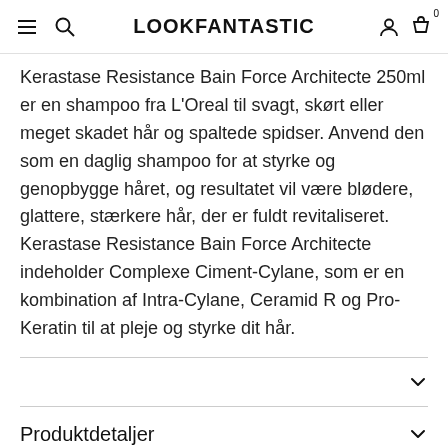LOOKFANTASTIC
Kerastase Resistance Bain Force Architecte 250ml er en shampoo fra L'Oreal til svagt, skørt eller meget skadet hår og spaltede spidser. Anvend den som en daglig shampoo for at styrke og genopbygge håret, og resultatet vil være blødere, glattere, stærkere hår, der er fuldt revitaliseret. Kerastase Resistance Bain Force Architecte indeholder Complexe Ciment-Cylane, som er en kombination af Intra-Cylane, Ceramid R og Pro-Keratin til at pleje og styrke dit hår.
Produktdetaljer
OFTE KØBT SAMMEN